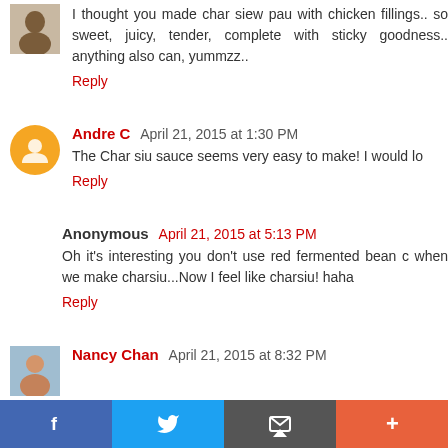I thought you made char siew pau with chicken fillings.. so sweet, juicy, tender, complete with sticky goodness.. anything also can, yummzz..
Reply
Andre C  April 21, 2015 at 1:30 PM
The Char siu sauce seems very easy to make! I would lo
Reply
Anonymous  April 21, 2015 at 5:13 PM
Oh it's interesting you don't use red fermented bean c when we make charsiu...Now I feel like charsiu! haha
Reply
Nancy Chan  April 21, 2015 at 8:32 PM